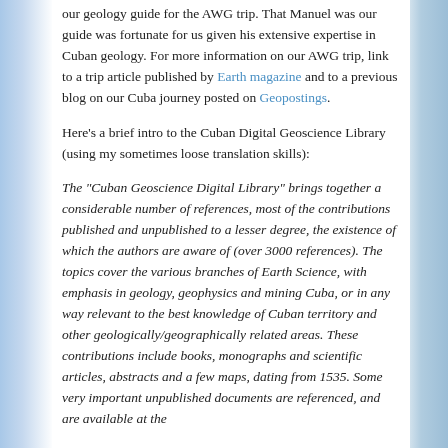our geology guide for the AWG trip. That Manuel was our guide was fortunate for us given his extensive expertise in Cuban geology. For more information on our AWG trip, link to a trip article published by Earth magazine and to a previous blog on our Cuba journey posted on Geopostings.
Here's a brief intro to the Cuban Digital Geoscience Library (using my sometimes loose translation skills):
The “Cuban Geoscience Digital Library” brings together a considerable number of references, most of the contributions published and unpublished to a lesser degree, the existence of which the authors are aware of (over 3000 references). The topics cover the various branches of Earth Science, with emphasis in geology, geophysics and mining Cuba, or in any way relevant to the best knowledge of Cuban territory and other geologically/geographically related areas. These contributions include books, monographs and scientific articles, abstracts and a few maps, dating from 1535. Some very important unpublished documents are referenced, and are available at the